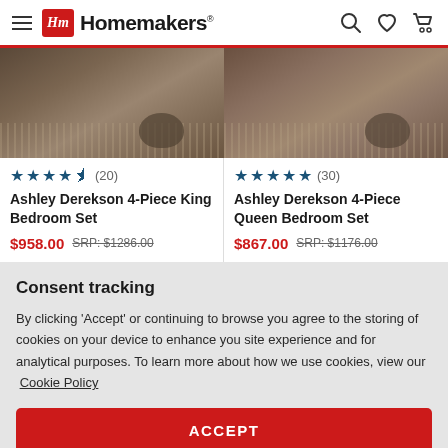Homemakers
[Figure (photo): Product image of Ashley Derekson 4-Piece King Bedroom Set showing room scene with rug and furniture]
[Figure (photo): Product image of Ashley Derekson 4-Piece Queen Bedroom Set showing room scene with rug and furniture]
★★★★½ (20)
Ashley Derekson 4-Piece King Bedroom Set
$958.00 SRP: $1286.00
★★★★★ (30)
Ashley Derekson 4-Piece Queen Bedroom Set
$867.00 SRP: $1176.00
Consent tracking
By clicking 'Accept' or continuing to browse you agree to the storing of cookies on your device to enhance you site experience and for analytical purposes. To learn more about how we use cookies, view our Cookie Policy
ACCEPT